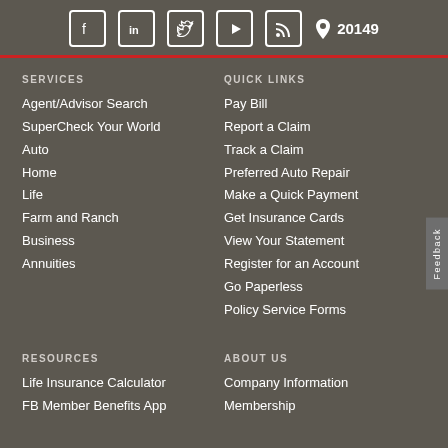Social media icons: Facebook, LinkedIn, Twitter, YouTube, RSS, Location 20149
SERVICES
Agent/Advisor Search
SuperCheck Your World
Auto
Home
Life
Farm and Ranch
Business
Annuities
QUICK LINKS
Pay Bill
Report a Claim
Track a Claim
Preferred Auto Repair
Make a Quick Payment
Get Insurance Cards
View Your Statement
Register for an Account
Go Paperless
Policy Service Forms
RESOURCES
Life Insurance Calculator
FB Member Benefits App
ABOUT US
Company Information
Membership